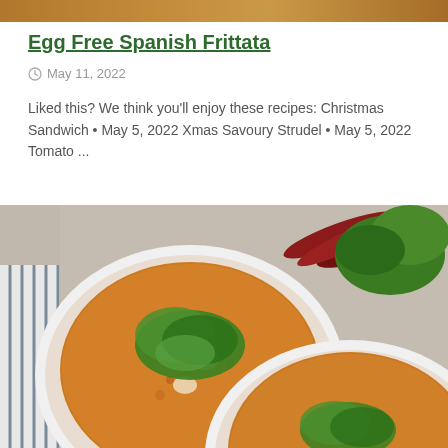[Figure (photo): Top strip showing partial food image background]
Egg Free Spanish Frittata
May 11, 2022
Liked this? We think you'll enjoy these recipes: Christmas Sandwich • May 5, 2022 Xmas Savoury Strudel • May 5, 2022 Tomato ...
[Figure (photo): Overhead photo of two white bowls filled with orange lentil/curry soup garnished with fresh green herbs (cilantro), with dried red chili peppers and fresh parsley/cilantro sprigs on a grey surface, with a striped cloth napkin on the left side.]